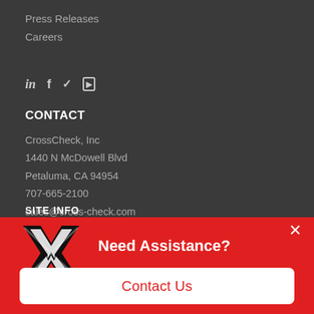Press Releases
Careers
[Figure (infographic): Social media icons: LinkedIn (in), Facebook (f), Twitter (bird), YouTube]
CONTACT
CrossCheck, Inc
1440 N McDowell Blvd
Petaluma, CA 94954
707-665-2100
sales@cross-check.com
SITE INFO
[Figure (infographic): Red popup banner with CrossCheck logo (XV mark with CROSSCHECK text), 'Need Assistance?' heading, close X button, and white 'Contact Us' button]
Need Assistance?
Contact Us